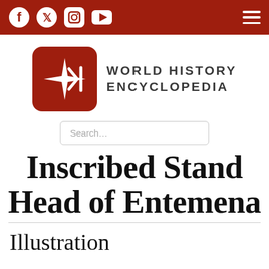World History Encyclopedia — navigation bar with social icons and hamburger menu
[Figure (logo): World History Encyclopedia logo: red rounded square with double arrow and vertical bar symbol in white, next to text 'WORLD HISTORY ENCYCLOPEDIA' in dark grey capital letters]
Inscribed Stand Head of Entemena
Illustration